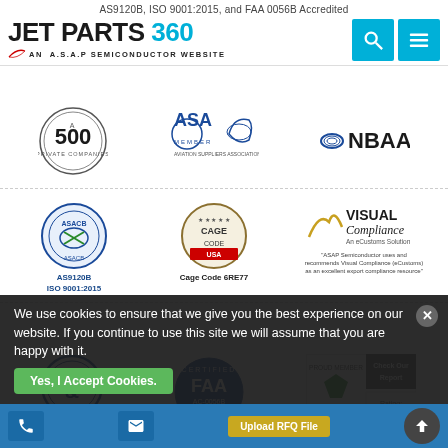AS9120B, ISO 9001:2015, and FAA 0056B Accredited
[Figure (logo): JET PARTS 360 logo - AN A.S.A.P SEMICONDUCTOR WEBSITE with search and menu icons]
[Figure (logo): INC 500 Private Companies badge, ASA Member Aviation Suppliers Association logo, NBAA logo]
[Figure (logo): ASACB AS9120B ISO 9001:2015 certification badge, Cage Code 6RE77 federal seal, Visual Compliance An eCustoms Solution logo]
[Figure (logo): Dun & Bradstreet D-U-N-S Registered badge, FAA AC-0056B Certified Company seal, Business Consumer Alliance Proud Member AAA Rating badge]
We use cookies to ensure that we give you the best experience on our website. If you continue to use this site we will assume that you are happy with it.
Yes, I Accept Cookies.